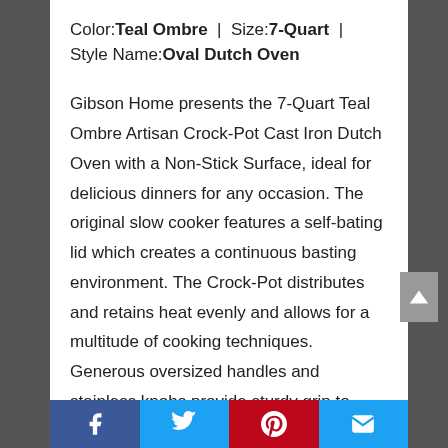Color:Teal Ombre | Size:7-Quart | Style Name:Oval Dutch Oven
Gibson Home presents the 7-Quart Teal Ombre Artisan Crock-Pot Cast Iron Dutch Oven with a Non-Stick Surface, ideal for delicious dinners for any occasion. The original slow cooker features a self-bating lid which creates a continuous basting environment. The Crock-Pot distributes and retains heat evenly and allows for a multitude of cooking techniques. Generous oversized handles and stainless knobs provide sturdy grip to increase mobility.
Facebook | Twitter | Pinterest | Email